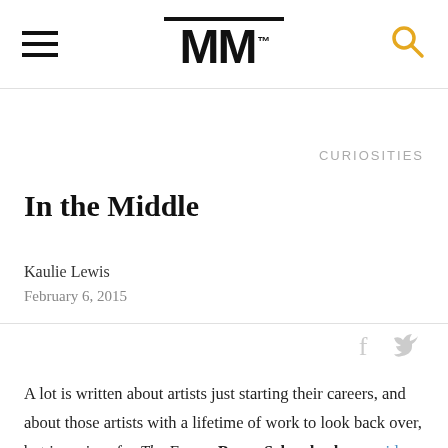MM™
CURIOSITIES
In the Middle
Kaulie Lewis
February 6, 2015
A lot is written about artists just starting their careers, and about those artists with a lifetime of work to look back over, but in a piece for The Enemy Barry Schwabasky considers the